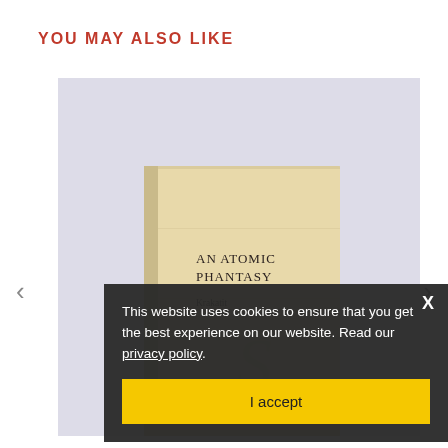YOU MAY ALSO LIKE
[Figure (photo): A worn, yellowed hardcover book with the text 'AN ATOMIC PHANTASY Krakatit' visible on the cover, set against a pale lavender/grey background.]
This website uses cookies to ensure that you get the best experience on our website. Read our privacy policy.
I accept